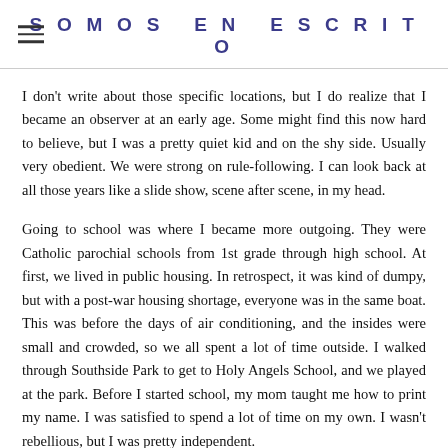SOMOS EN ESCRITO
I don't write about those specific locations, but I do realize that I became an observer at an early age. Some might find this now hard to believe, but I was a pretty quiet kid and on the shy side. Usually very obedient. We were strong on rule-following. I can look back at all those years like a slide show, scene after scene, in my head.
Going to school was where I became more outgoing. They were Catholic parochial schools from 1st grade through high school. At first, we lived in public housing. In retrospect, it was kind of dumpy, but with a post-war housing shortage, everyone was in the same boat. This was before the days of air conditioning, and the insides were small and crowded, so we all spent a lot of time outside. I walked through Southside Park to get to Holy Angels School, and we played at the park. Before I started school, my mom taught me how to print my name. I was satisfied to spend a lot of time on my own. I wasn't rebellious, but I was pretty independent.